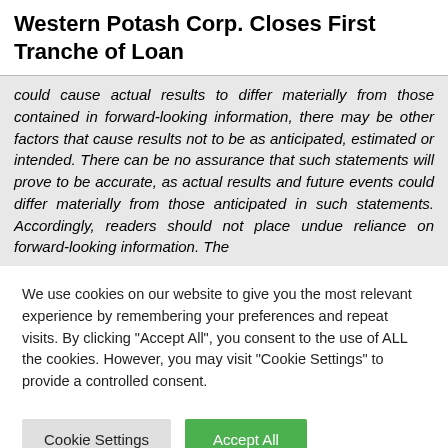Western Potash Corp. Closes First Tranche of Loan
could cause actual results to differ materially from those contained in forward-looking information, there may be other factors that cause results not to be as anticipated, estimated or intended. There can be no assurance that such statements will prove to be accurate, as actual results and future events could differ materially from those anticipated in such statements. Accordingly, readers should not place undue reliance on forward-looking information. The
We use cookies on our website to give you the most relevant experience by remembering your preferences and repeat visits. By clicking "Accept All", you consent to the use of ALL the cookies. However, you may visit "Cookie Settings" to provide a controlled consent.
Cookie Settings | Accept All